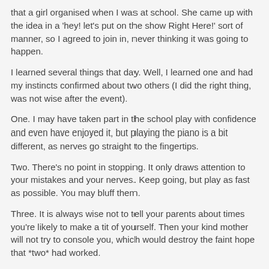that a girl organised when I was at school. She came up with the idea in a 'hey! let's put on the show Right Here!' sort of manner, so I agreed to join in, never thinking it was going to happen.
I learned several things that day. Well, I learned one and had my instincts confirmed about two others (I did the right thing, was not wise after the event).
One. I may have taken part in the school play with confidence and even have enjoyed it, but playing the piano is a bit different, as nerves go straight to the fingertips.
Two. There's no point in stopping. It only draws attention to your mistakes and your nerves. Keep going, but play as fast as possible. You may bluff them.
Three. It is always wise not to tell your parents about times you're likely to make a tit of yourself. Then your kind mother will not try to console you, which would destroy the faint hope that *two* had worked.